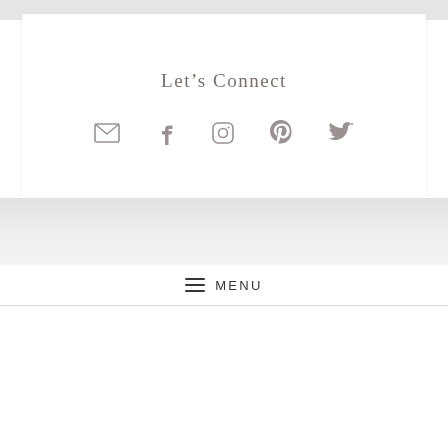Let’s Connect
[Figure (other): Row of five social media icons: email/envelope, Facebook, Instagram, Pinterest, Twitter — rendered in muted gray color]
≡ MENU